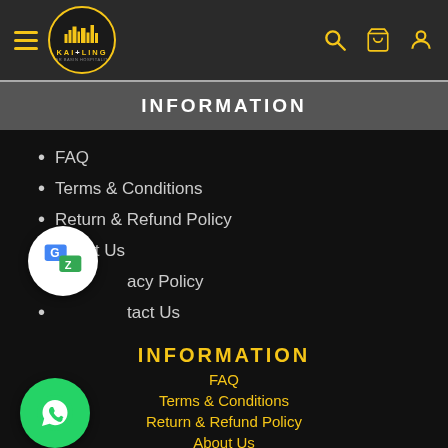KAI+LING — navigation bar with logo, hamburger menu, search, cart, and user icons
INFORMATION
FAQ
Terms & Conditions
Return & Refund Policy
About Us
Privacy Policy
Contact Us
INFORMATION
FAQ
Terms & Conditions
Return & Refund Policy
About Us